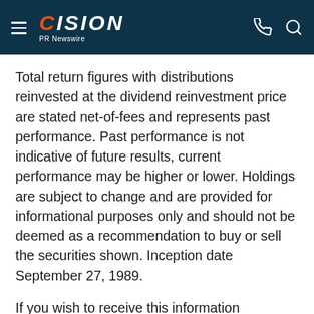CISION PR Newswire
Total return figures with distributions reinvested at the dividend reinvestment price are stated net-of-fees and represents past performance. Past performance is not indicative of future results, current performance may be higher or lower. Holdings are subject to change and are provided for informational purposes only and should not be deemed as a recommendation to buy or sell the securities shown. Inception date September 27, 1989.
If you wish to receive this information electronically, please contact: InvestorRelations@aberdeen-asset.com